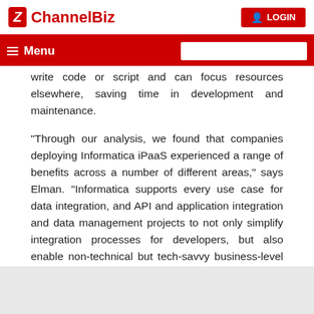ChannelBiz | LOGIN
Menu [search box]
write code or script and can focus resources elsewhere, saving time in development and maintenance.
“Through our analysis, we found that companies deploying Informatica iPaaS experienced a range of benefits across a number of different areas,” says Elman. “Informatica supports every use case for data integration, and API and application integration and data management projects to not only simplify integration processes for developers, but also enable non-technical but tech-savvy business-level users to build out integrations.”
See the full guidebook at: